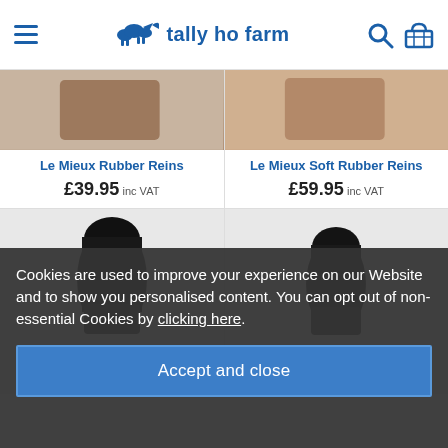tally ho farm
Le Mieux Rubber Reins £39.95 inc VAT
Le Mieux Soft Rubber Reins £59.95 inc VAT
[Figure (screenshot): Partial product image of Le Mieux Fleece item, black boots visible]
[Figure (screenshot): Partial product image of Le Mieux Fleece item, black item visible]
Cookies are used to improve your experience on our Website and to show you personalised content. You can opt out of non-essential Cookies by clicking here.
Accept and close
Le Mieux Fleece Edition £44.95 inc VAT
Le Mieux Fleece h £34.95 inc VAT